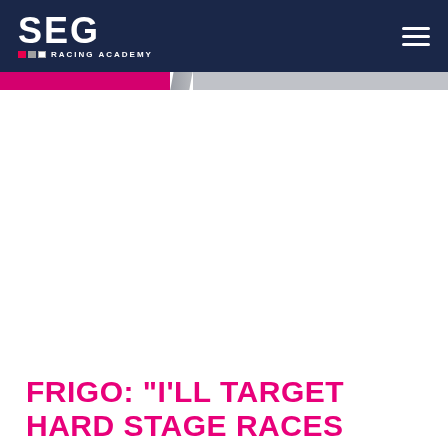SEG Racing Academy
FRIGO: “I’LL TARGET HARD STAGE RACES WITH HIGH GC AMBITIONS”
06/12/2019